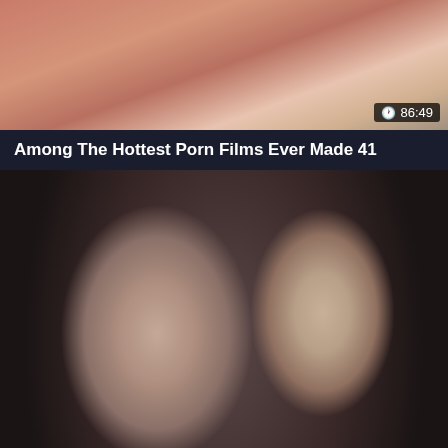[Figure (screenshot): Video thumbnail 1 - partial top view, skin tones]
86:49
Among The Hottest Porn Films Ever Made 41
[Figure (screenshot): Video thumbnail 2 - two people in vintage clothing, blurred close-up]
68:40
Old School French : 28 French Trailers
[Figure (screenshot): Video thumbnail 3 - partial bottom, blonde person close-up]